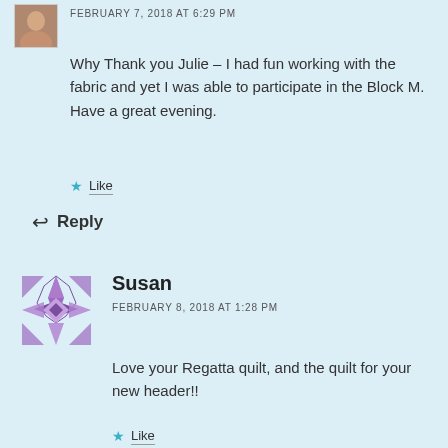[Figure (photo): Small profile photo of Texas Quilter commenter]
FEBRUARY 7, 2018 AT 6:29 PM
Why Thank you Julie – I had fun working with the fabric and yet I was able to participate in the Block M. Have a great evening.
Like
Reply
[Figure (illustration): Susan commenter avatar with purple geometric/snowflake pattern]
Susan
FEBRUARY 8, 2018 AT 1:28 PM
Love your Regatta quilt, and the quilt for your new header!!
Like
Reply